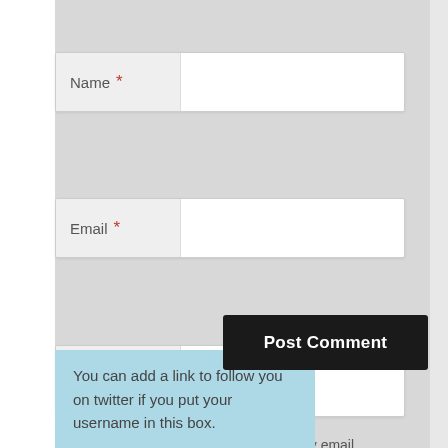Name *
Email *
Website
Notify me of follow-up comments by email.
Notify me of new posts by email.
You can add a link to follow you on twitter if you put your username in this box.
Post Comment